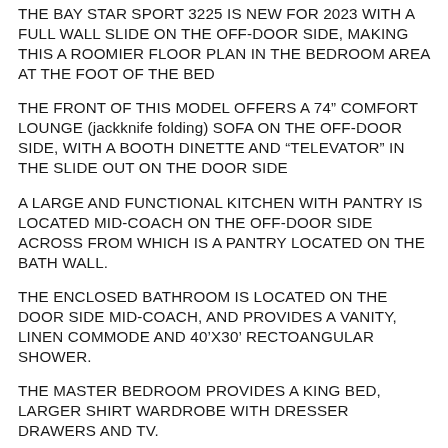THE BAY STAR SPORT 3225 IS NEW FOR 2023 WITH A FULL WALL SLIDE ON THE OFF-DOOR SIDE, MAKING THIS A ROOMIER FLOOR PLAN IN THE BEDROOM AREA AT THE FOOT OF THE BED
THE FRONT OF THIS MODEL OFFERS A 74” COMFORT LOUNGE (jackknife folding) SOFA ON THE OFF-DOOR SIDE, WITH A BOOTH DINETTE AND “TELEVATOR” IN THE SLIDE OUT ON THE DOOR SIDE
A LARGE AND FUNCTIONAL KITCHEN WITH PANTRY IS LOCATED MID-COACH ON THE OFF-DOOR SIDE ACROSS FROM WHICH IS A PANTRY LOCATED ON THE BATH WALL.
THE ENCLOSED BATHROOM IS LOCATED ON THE DOOR SIDE MID-COACH, AND PROVIDES A VANITY, LINEN COMMODE AND 40’X30’ RECTOANGULAR SHOWER.
THE MASTER BEDROOM PROVIDES A KING BED, LARGER SHIRT WARDROBE WITH DRESSER DRAWERS AND TV.